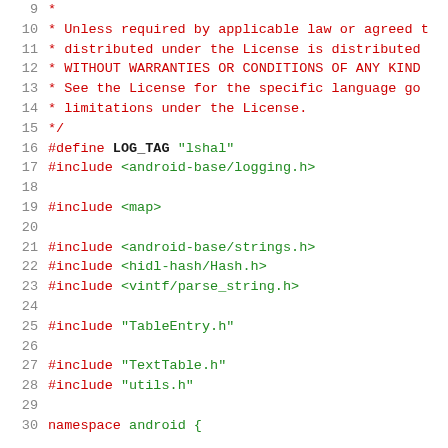Source code listing lines 9-30, C/C++ file with license comment and include directives